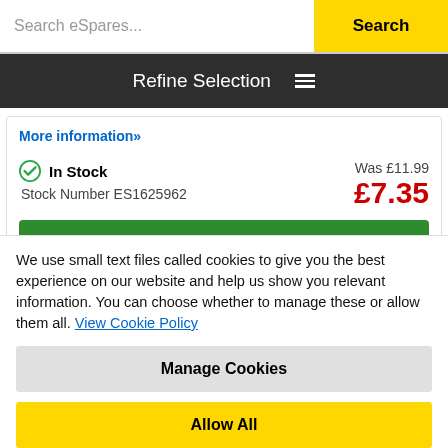Search eSpares...  Search
Refine Selection
More information»
In Stock   Was £11.99  £7.35  Stock Number ES1625962
Buy Now >
Care+Protect Washing Machine/Dishwasher
We use small text files called cookies to give you the best experience on our website and help us show you relevant information. You can choose whether to manage these or allow them all. View Cookie Policy
Manage Cookies
Allow All